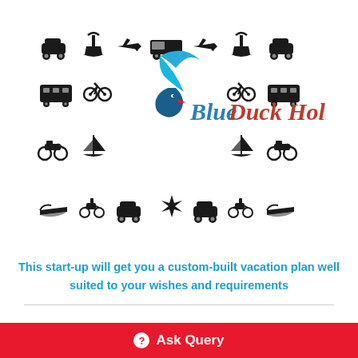[Figure (logo): Blue Duck Holidays logo with flying duck/bird in blue and red, surrounded by transport icons (cars, buses, motorcycles, bicycles, boats, planes) arranged in a grid pattern]
This start-up will get you a custom-built vacation plan well suited to your wishes and requirements
Ask Query